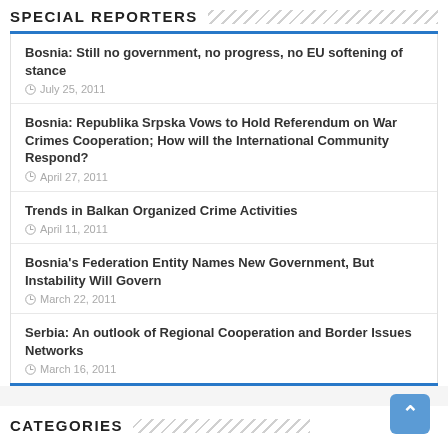SPECIAL REPORTERS
Bosnia: Still no government, no progress, no EU softening of stance
Bosnia: Republika Srpska Vows to Hold Referendum on War Crimes Cooperation; How will the International Community Respond?
Trends in Balkan Organized Crime Activities
Bosnia's Federation Entity Names New Government, But Instability Will Govern
Serbia: An outlook of Regional Cooperation and Border Issues Networks
CATEGORIES